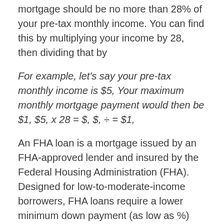mortgage should be no more than 28% of your pre-tax monthly income. You can find this by multiplying your income by 28, then dividing that by
For example, let's say your pre-tax monthly income is $5, Your maximum monthly mortgage payment would then be $1, $5, x 28 = $, $, ÷ = $1,
An FHA loan is a mortgage issued by an FHA-approved lender and insured by the Federal Housing Administration (FHA). Designed for low-to-moderate-income borrowers, FHA loans require a lower minimum down payment (as low as %) and credit score than